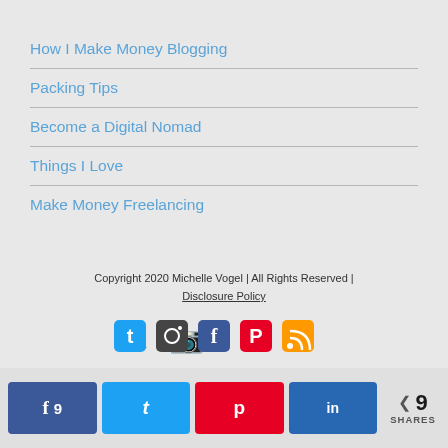How I Make Money Blogging
Packing Tips
Become a Digital Nomad
Things I Love
Make Money Freelancing
Copyright 2020 Michelle Vogel | All Rights Reserved | Disclosure Policy
[Figure (infographic): Social media icons: Twitter, Instagram, Facebook, Pinterest, RSS]
9 SHARES — Facebook: 9, Twitter, Pinterest, LinkedIn share buttons